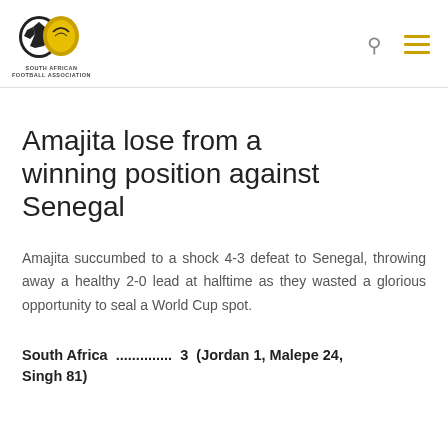South African Football Association
Amajita lose from a winning position against Senegal
Amajita succumbed to a shock 4-3 defeat to Senegal, throwing away a healthy 2-0 lead at halftime as they wasted a glorious opportunity to seal a World Cup spot.
South Africa ............... 3 (Jordan 1, Malepe 24, Singh 81)